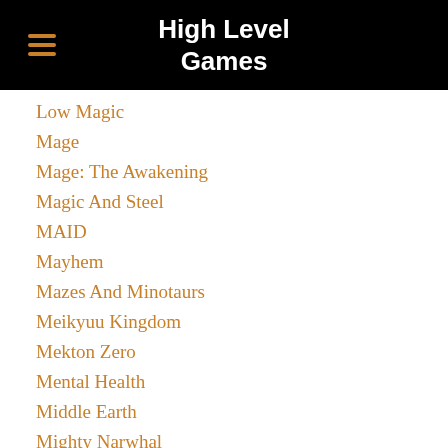High Level Games
Low Magic
Mage
Mage: The Awakening
Magic And Steel
MAID
Mayhem
Mazes And Minotaurs
Meikyuu Kingdom
Mekton Zero
Mental Health
Middle Earth
Mighty Narwhal
Mini Six
Modern Adventures RPG
Modiphius